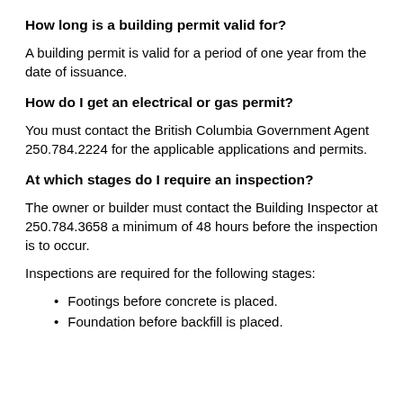How long is a building permit valid for?
A building permit is valid for a period of one year from the date of issuance.
How do I get an electrical or gas permit?
You must contact the British Columbia Government Agent 250.784.2224 for the applicable applications and permits.
At which stages do I require an inspection?
The owner or builder must contact the Building Inspector at 250.784.3658 a minimum of 48 hours before the inspection is to occur.
Inspections are required for the following stages:
Footings before concrete is placed.
Foundation before backfill is placed.